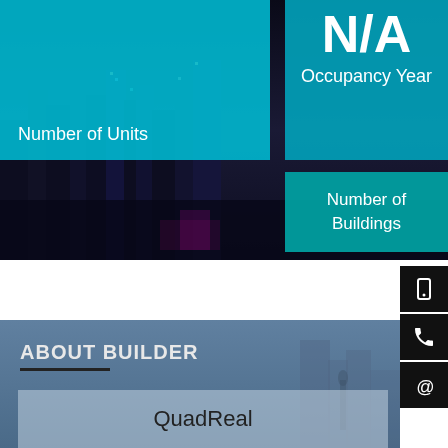[Figure (infographic): Dark city skyline background with teal/cyan info cards overlaid. Cards show: Number of Units, N/A Occupancy Year, Number of Buildings]
Number of Units
N/A
Occupancy Year
Number of Buildings
ABOUT BUILDER
QuadReal